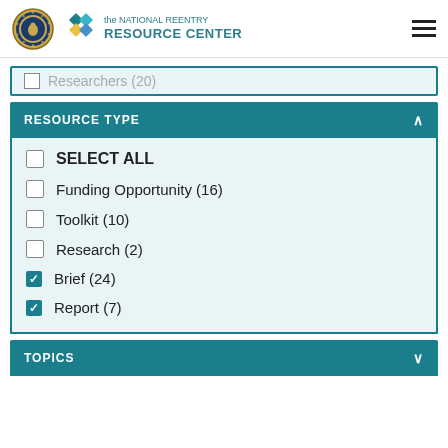[Figure (logo): The National Reentry Resource Center logo with DOJ seal and colorful diamond pattern icon]
Researchers (20)
RESOURCE TYPE
SELECT ALL
Funding Opportunity (16)
Toolkit (10)
Research (2)
Brief (24) [checked]
Report (7) [checked]
TOPICS